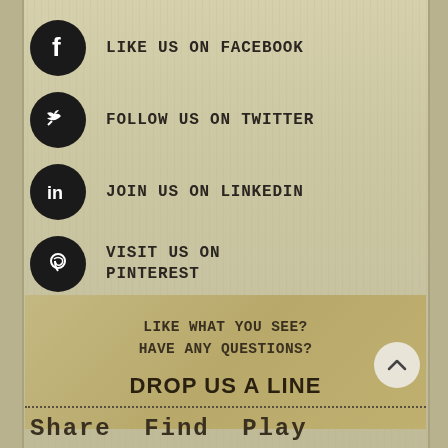LIKE US ON FACEBOOK
FOLLOW US ON TWITTER
JOIN US ON LINKEDIN
VISIT US ON PINTEREST
LIKE WHAT YOU SEE?
HAVE ANY QUESTIONS?
DROP US A LINE
Share  Find  Play